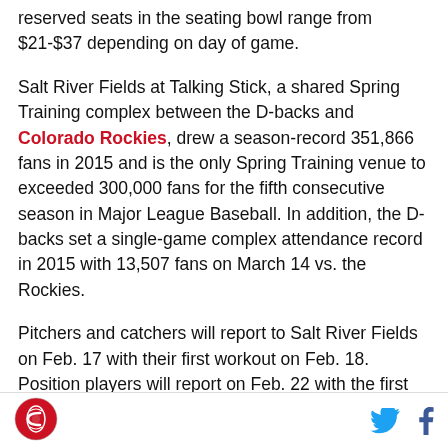reserved seats in the seating bowl range from $21-$37 depending on day of game.
Salt River Fields at Talking Stick, a shared Spring Training complex between the D-backs and Colorado Rockies, drew a season-record 351,866 fans in 2015 and is the only Spring Training venue to exceeded 300,000 fans for the fifth consecutive season in Major League Baseball. In addition, the D-backs set a single-game complex attendance record in 2015 with 13,507 fans on March 14 vs. the Rockies.
Pitchers and catchers will report to Salt River Fields on Feb. 17 with their first workout on Feb. 18. Position players will report on Feb. 22 with the first full-squad
[Figure (logo): Circular red and white sports logo in footer]